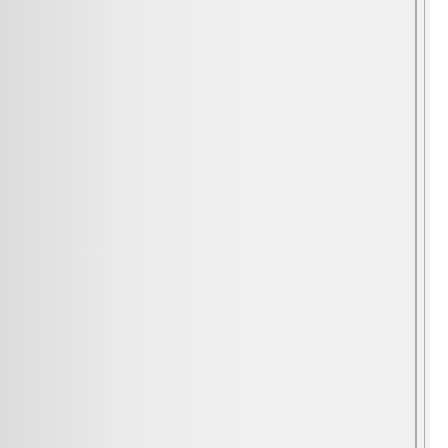between then and now. There would be more poverty and hardship in the world. The tremendous increases in wealth which have occured over the past 20 years would have been greatly reduced. This would be real and genuine cost and harm.

Against this harm, what would be the corresponding benefit? Well, we would have more oil today, and oil prices would not have climbed rapidly in the past